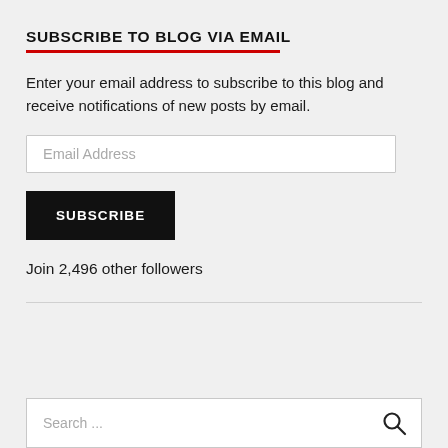SUBSCRIBE TO BLOG VIA EMAIL
Enter your email address to subscribe to this blog and receive notifications of new posts by email.
Email Address
SUBSCRIBE
Join 2,496 other followers
Search ...